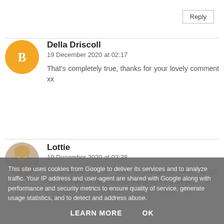Reply
Della Driscoll
19 December 2020 at 02:17
That's completely true, thanks for your lovely comment xx
Lottie
19 December 2020 at 02:38
I'm pleased you are able to recognise these things. Sometimes it's hard to see the progres. This year has been tough for a lot of people. I know I have
This site uses cookies from Google to deliver its services and to analyze traffic. Your IP address and user-agent are shared with Google along with performance and security metrics to ensure quality of service, generate usage statistics, and to detect and address abuse.
LEARN MORE
OK